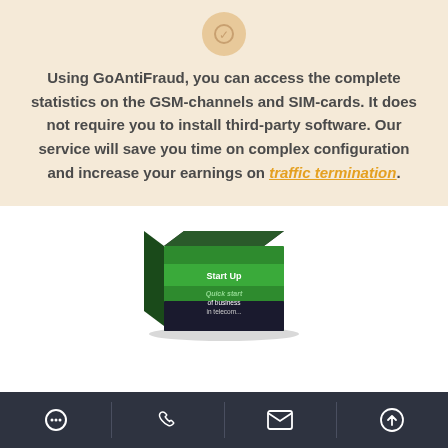Using GoAntiFraud, you can access the complete statistics on the GSM-channels and SIM-cards. It does not require you to install third-party software. Our service will save you time on complex configuration and increase your earnings on traffic termination.
[Figure (photo): Product box image showing a green and black box labeled 'Start Up - Quick start of business in telecom']
Footer navigation bar with chat, phone, email, and scroll-up icons